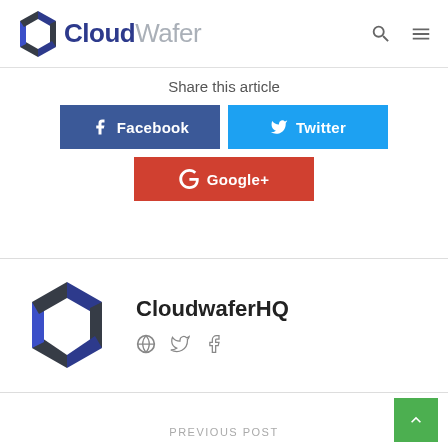[Figure (logo): CloudWafer logo with hexagon C icon in blue and dark grey, with text 'Cloud' in dark blue bold and 'Wafer' in grey light weight]
Share this article
[Figure (infographic): Social share buttons: Facebook (dark blue), Twitter (light blue), Google+ (red)]
[Figure (logo): CloudWaferHQ author logo - large hexagon C icon in blue and dark grey]
CloudwaferHQ
[Figure (infographic): Social icons: globe, Twitter bird, Facebook f]
PREVIOUS POST
[Figure (other): Green back-to-top button with upward chevron arrow]